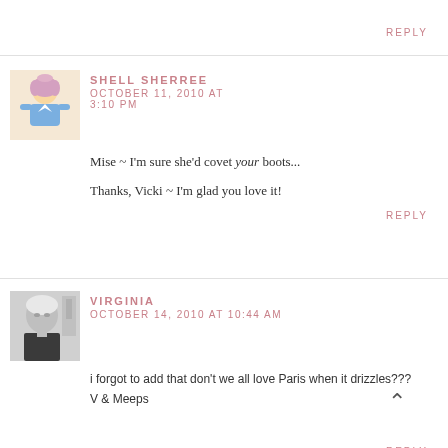REPLY
SHELL SHERREE   OCTOBER 11, 2010 AT 3:10 PM
Mise ~ I'm sure she'd covet your boots...
Thanks, Vicki ~ I'm glad you love it!
REPLY
VIRGINIA   OCTOBER 14, 2010 AT 10:44 AM
i forgot to add that don't we all love Paris when it drizzles???
V & Meeps
REPLY